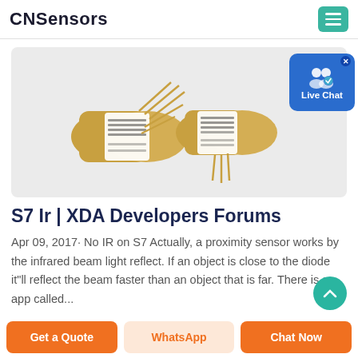CNSensors
[Figure (photo): Two gold-colored electronic sensor components (IR proximity sensors) with white labels and gold leads, shown on a light grey background]
S7 Ir | XDA Developers Forums
Apr 09, 2017· No IR on S7 Actually, a proximity sensor works by the infrared beam light reflect. If an object is close to the diode it"ll reflect the beam faster than an object that is far. There is a app called...